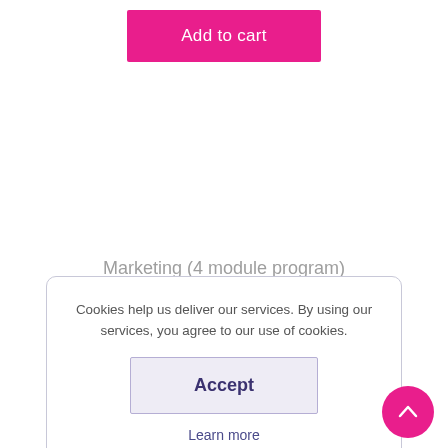Add to cart
Marketing (4 module program)
Cookies help us deliver our services. By using our services, you agree to our use of cookies.
Accept
Learn more
[Figure (photo): Marketing brainstorming photo with people gathered around a table with the word MARKETING written in large letters, along with strategy diagrams and icons for develop.]